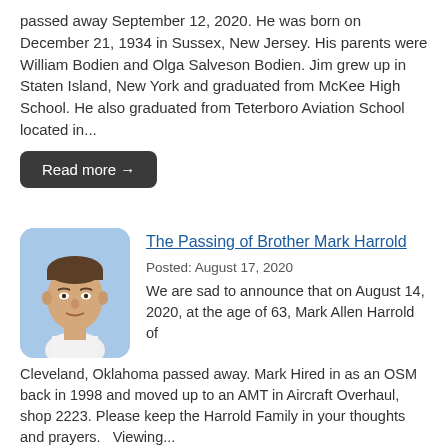passed away September 12, 2020. He was born on December 21, 1934 in Sussex, New Jersey. His parents were William Bodien and Olga Salveson Bodien. Jim grew up in Staten Island, New York and graduated from McKee High School. He also graduated from Teterboro Aviation School located in...
Read more →
[Figure (photo): Portrait photo of a middle-aged man with a light blue background, face forward, wearing a white shirt]
The Passing of Brother Mark Harrold
Posted: August 17, 2020
We are sad to announce that on August 14, 2020, at the age of 63, Mark Allen Harrold of Cleveland, Oklahoma passed away. Mark Hired in as an OSM back in 1998 and moved up to an AMT in Aircraft Overhaul, shop 2223. Please keep the Harrold Family in your thoughts and prayers.   Viewing...
Read more →